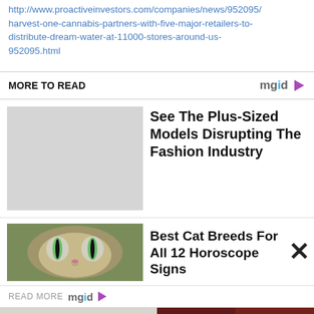http://www.proactiveinvestors.com/companies/news/952095/harvest-one-cannabis-partners-with-five-major-retailers-to-distribute-dream-water-at-11000-stores-around-us-952095.html
MORE TO READ
[Figure (screenshot): mgid logo with colorful dots and play button triangle]
See The Plus-Sized Models Disrupting The Fashion Industry
[Figure (photo): Close-up photo of a cat with wide green eyes looking directly at camera]
Best Cat Breeds For All 12 Horoscope Signs
READ MORE
[Figure (logo): mgid logo with colorful letters and play button]
[Figure (photo): Two people embracing, romantic scene against white brick wall]
[Figure (photo): Dark romantic scene with a couple, red YouTube play button overlay]